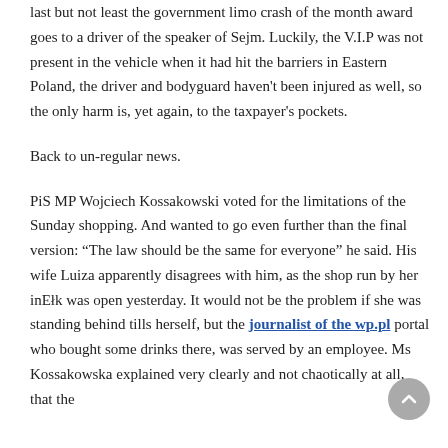last but not least the government limo crash of the month award goes to a driver of the speaker of Sejm. Luckily, the V.I.P was not present in the vehicle when it had hit the barriers in Eastern Poland, the driver and bodyguard haven't been injured as well, so the only harm is, yet again, to the taxpayer's pockets.
Back to un-regular news.
PiS MP Wojciech Kossakowski voted for the limitations of the Sunday shopping. And wanted to go even further than the final version: “The law should be the same for everyone” he said. His wife Luiza apparently disagrees with him, as the shop run by her in Ełk was open yesterday. It would not be the problem if she was standing behind tills herself, but the journalist of the wp.pl portal who bought some drinks there, was served by an employee. Ms Kossakowska explained very clearly and not chaotically at all, that the